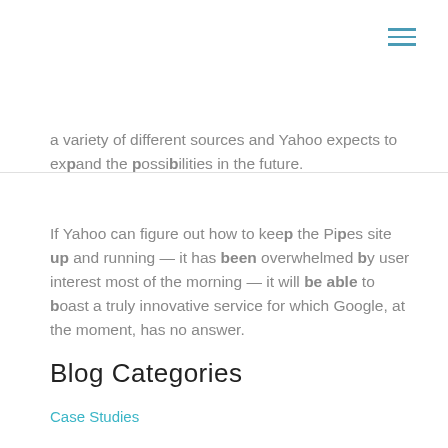≡
a variety of different sources and Yahoo expects to expand the possibilities in the future.
If Yahoo can figure out how to keep the Pipes site up and running — it has been overwhelmed by user interest most of the morning — it will be able to boast a truly innovative service for which Google, at the moment, has no answer.
Blog Categories
Case Studies